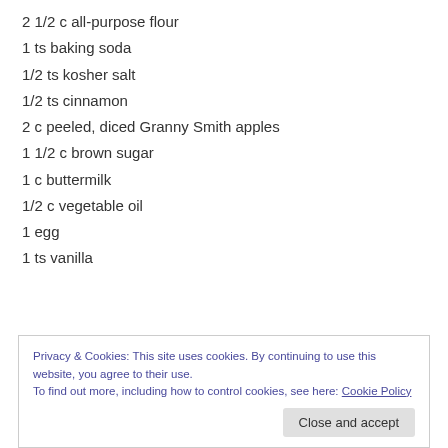2 1/2 c all-purpose flour
1 ts baking soda
1/2 ts kosher salt
1/2 ts cinnamon
2 c peeled, diced Granny Smith apples
1 1/2 c brown sugar
1 c buttermilk
1/2 c vegetable oil
1 egg
1 ts vanilla
Privacy & Cookies: This site uses cookies. By continuing to use this website, you agree to their use. To find out more, including how to control cookies, see here: Cookie Policy